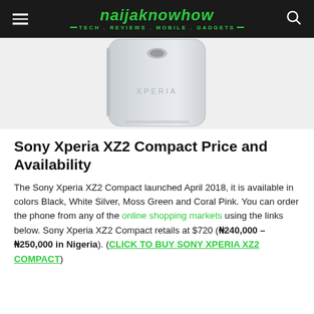naijaknowhow — TECH . REVIEWS . MOBILE . GADGETS —
[Figure (photo): Back view of a Sony Xperia XZ2 Compact smartphone in silver/white color against a light grey background]
Sony Xperia XZ2 Compact Price and Availability
The Sony Xperia XZ2 Compact launched April 2018, it is available in colors Black, White Silver, Moss Green and Coral Pink. You can order the phone from any of the online shopping markets using the links below. Sony Xperia XZ2 Compact retails at $720 (₦240,000 – ₦250,000 in Nigeria). (CLICK TO BUY SONY XPERIA XZ2 COMPACT)